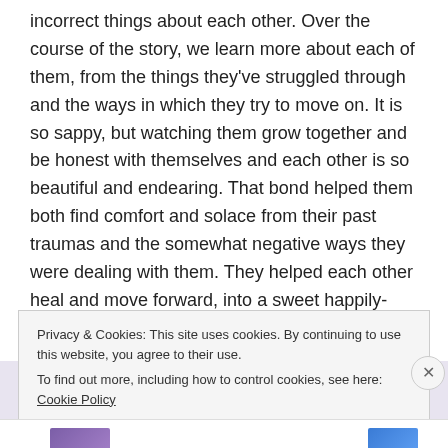incorrect things about each other. Over the course of the story, we learn more about each of them, from the things they've struggled through and the ways in which they try to move on. It is so sappy, but watching them grow together and be honest with themselves and each other is so beautiful and endearing. That bond helped them both find comfort and solace from their past traumas and the somewhat negative ways they were dealing with them. They helped each other heal and move forward, into a sweet happily-ever-after ending.
Privacy & Cookies: This site uses cookies. By continuing to use this website, you agree to their use.
To find out more, including how to control cookies, see here: Cookie Policy
Close and accept